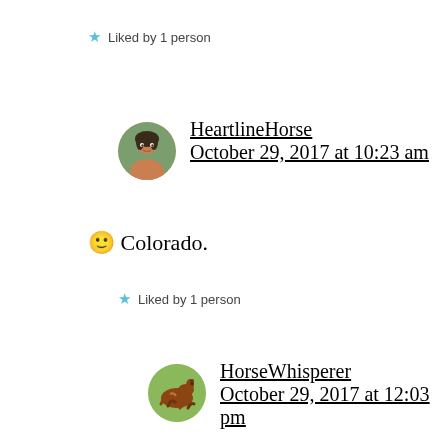★ Liked by 1 person
HeartlineHorse
October 29, 2017 at 10:23 am
🙂 Colorado.
★ Liked by 1 person
HorseWhisperer
October 29, 2017 at 12:03 pm